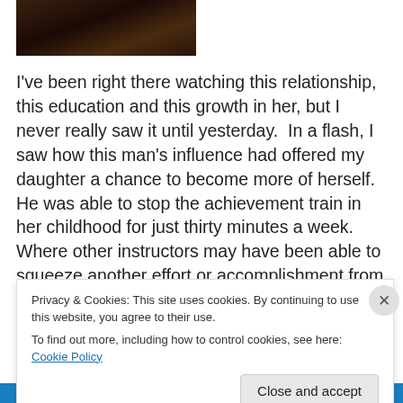[Figure (photo): Dark photograph partially visible at top of page]
I've been right there watching this relationship, this education and this growth in her, but I never really saw it until yesterday.  In a flash, I saw how this man's influence had offered my daughter a chance to become more of herself.  He was able to stop the achievement train in her childhood for just thirty minutes a week.  Where other instructors may have been able to squeeze another effort or accomplishment from her, Patrick was able to quietly grow her confidence in herself and her love for the guitar
Privacy & Cookies: This site uses cookies. By continuing to use this website, you agree to their use.
To find out more, including how to control cookies, see here: Cookie Policy
Close and accept